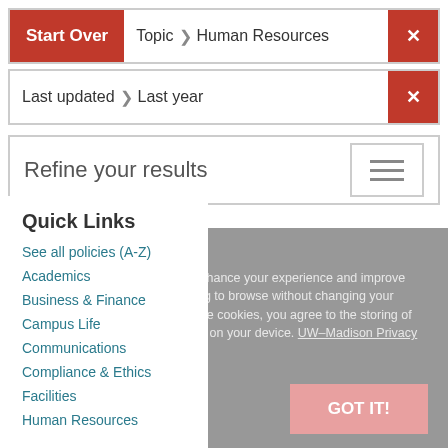Start Over | Topic > Human Resources | [close]
Last updated > Last year | [close]
Refine your results
COOKIE NOTICE
We use cookies on this site to enhance your experience and improve our library services. By continuing to browse without changing your browser settings to block or delete cookies, you agree to the storing of cookies and related technologies on your device. UW–Madison Privacy Notice
Quick Links
See all policies (A-Z)
Academics
Business & Finance
Campus Life
Communications
Compliance & Ethics
Facilities
Human Resources